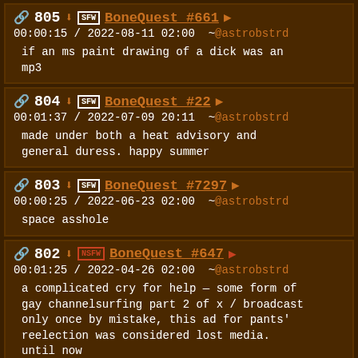805 BoneQuest #661 00:00:15 / 2022-08-11 02:00 ~@astrobstrd if an ms paint drawing of a dick was an mp3
804 BoneQuest #22 00:01:37 / 2022-07-09 20:11 ~@astrobstrd made under both a heat advisory and general duress. happy summer
803 BoneQuest #7297 00:00:25 / 2022-06-23 02:00 ~@astrobstrd space asshole
802 BoneQuest #647 00:01:25 / 2022-04-26 02:00 ~@astrobstrd a complicated cry for help — some form of gay channelsurfing part 2 of x / broadcast only once by mistake, this ad for pants' reelection was considered lost media. until now